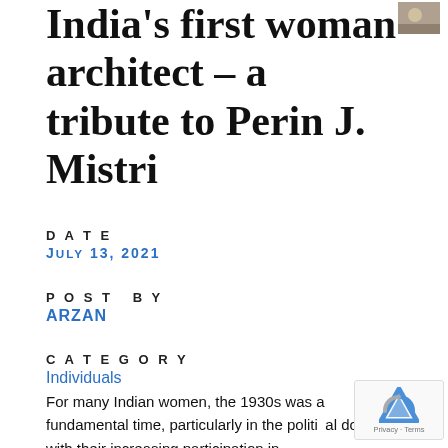India's first woman architect – a tribute to Perin J. Mistri
Date
July 13, 2021
Post by
arZan
Category
Individuals
For many Indian women, the 1930s was a fundamental time, particularly in the political domain with their increasing participation in...